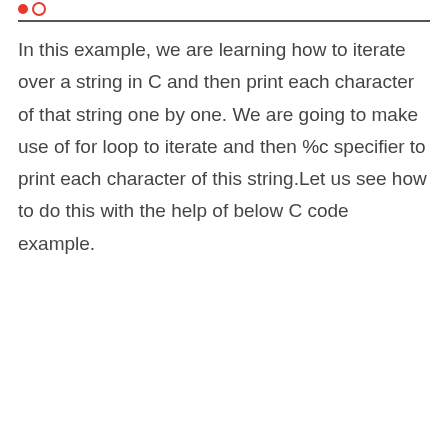In this example, we are learning how to iterate over a string in C and then print each character of that string one by one. We are going to make use of for loop to iterate and then %c specifier to print each character of this string.Let us see how to do this with the help of below C code example.